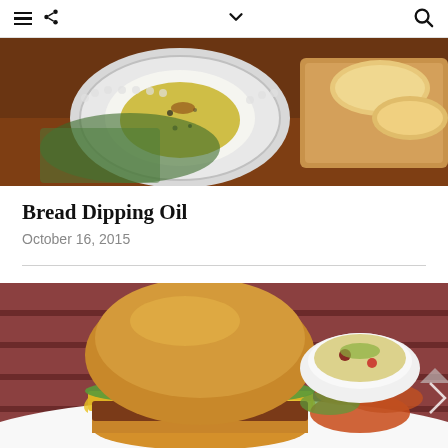≡ ⋖ ∨ 🔍
[Figure (photo): Overhead view of bread dipping oil in a white decorative plate, with sliced bread on a wooden cutting board against a brick wall background]
Bread Dipping Oil
October 16, 2015
[Figure (photo): Close-up of a burger with melted cheese on a brioche bun, served with chips and a bowl of salad, on a white plate against a brick wall background]